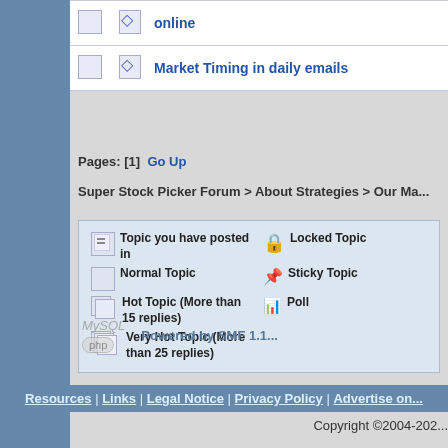|  |  | Topic |
| --- | --- | --- |
| [icon] | [pin] | online |
| [icon] | [pin] | Market Timing in daily emails |
Pages: [1]  Go Up
Super Stock Picker Forum > About Strategies > Our Ma...
Topic you have posted in | Normal Topic | Hot Topic (More than 15 replies) | Very Hot Topic (More than 25 replies) | Locked Topic | Sticky Topic | Poll
Powered by SMF 1.1...
Resources | Links | Legal Notice | Privacy Policy | Advertise on...
Copyright ©2004-202...